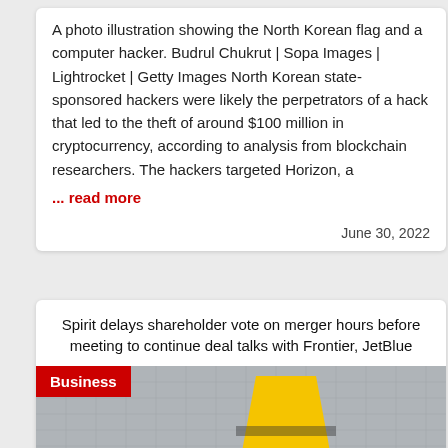A photo illustration showing the North Korean flag and a computer hacker. Budrul Chukrut | Sopa Images | Lightrocket | Getty Images North Korean state-sponsored hackers were likely the perpetrators of a hack that led to the theft of around $100 million in cryptocurrency, according to analysis from blockchain researchers. The hackers targeted Horizon, a
... read more
June 30, 2022
Spirit delays shareholder vote on merger hours before meeting to continue deal talks with Frontier, JetBlue
[Figure (photo): Photo of a yellow Spirit Airlines plane tail in front of a grey tiled wall, with a red 'Business' badge overlay in the top-left corner.]